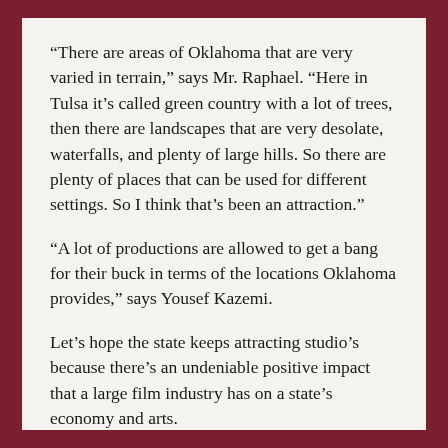“There are areas of Oklahoma that are very varied in terrain,” says Mr. Raphael. “Here in Tulsa it’s called green country with a lot of trees, then there are landscapes that are very desolate, waterfalls, and plenty of large hills. So there are plenty of places that can be used for different settings. So I think that’s been an attraction.”
“A lot of productions are allowed to get a bang for their buck in terms of the locations Oklahoma provides,” says Yousef Kazemi.
Let’s hope the state keeps attracting studio’s because there’s an undeniable positive impact that a large film industry has on a state’s economy and arts.
“There is a misconception that the film and